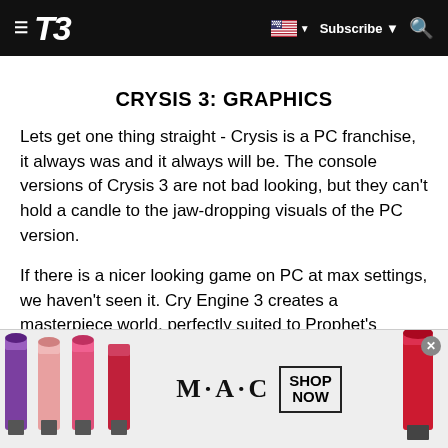T3 | Subscribe | Search
CRYSIS 3: GRAPHICS
Lets get one thing straight - Crysis is a PC franchise, it always was and it always will be. The console versions of Crysis 3 are not bad looking, but they can't hold a candle to the jaw-dropping visuals of the PC version.
If there is a nicer looking game on PC at max settings, we haven't seen it. Cry Engine 3 creates a masterpiece world, perfectly suited to Prophet's sneaky snake shenanigans. If you want to know what next-gen looks like, take a look at Crysis 3 on PC and it'll give you a pretty good idea.
[Figure (illustration): MAC cosmetics advertisement banner showing lipsticks on the left and right, MAC logo in center, and a SHOP NOW button box]